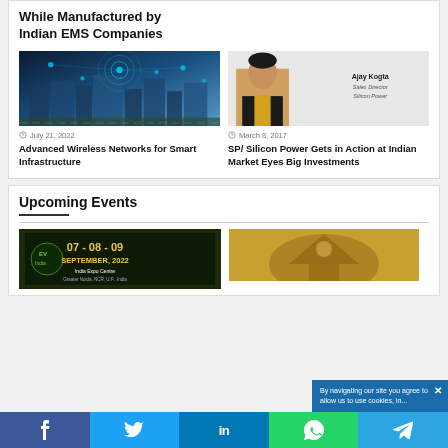While Manufactured by Indian EMS Companies
[Figure (photo): Smart city aerial view with wireless network overlay graphics]
July 21, 2022
Advanced Wireless Networks for Smart Infrastructure
[Figure (photo): Portrait of Ajay Kogta, Sales Director, Silicon Power]
March 8, 2017
SP/ Silicon Power Gets in Action at Indian Market Eyes Big Investments
Upcoming Events
[Figure (photo): EV India expo banner: 07-08-09 September 2022, India Expo Centre, Greater Noida]
[Figure (photo): Second event image with decorative motif]
By navigating our site you agree to allow us to use cookies, in...